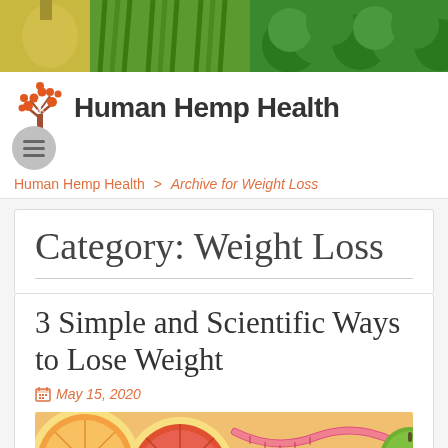[Figure (photo): Header photo showing green vegetables including asparagus and broccoli]
Human Hemp Health
Human Hemp Health > Archive for Weight Loss
Category: Weight Loss
3 Simple and Scientific Ways to Lose Weight
May 15, 2020
[Figure (photo): Photo of grapefruit slices, measuring tape, and green apple — weight loss concept]